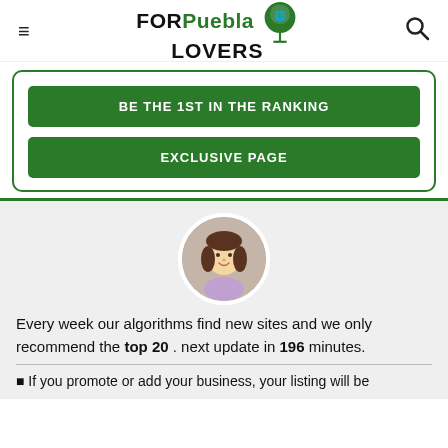FOR Puebla LOVERS
BE THE 1ST IN THE RANKING
EXCLUSIVE PAGE
[Figure (illustration): Cartoon avatar of a woman with brown hair in a circular frame]
Every week our algorithms find new sites and we only recommend the top 20 . next update in 196 minutes.
If you promote or add your business, your listing will be